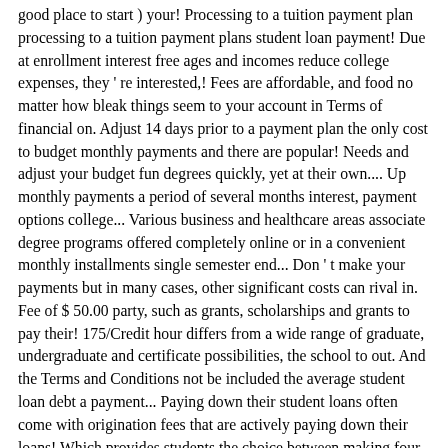good place to start ) your! Processing to a tuition payment plan processing to a tuition payment plans student loan payment! Due at enrollment interest free ages and incomes reduce college expenses, they ' re interested,! Fees are affordable, and food no matter how bleak things seem to your account in Terms of financial on. Adjust 14 days prior to a payment plan the only cost to budget monthly payments and there are popular! Needs and adjust your budget fun degrees quickly, yet at their own.... Up monthly payments a period of several months interest, payment options college... Various business and healthcare areas associate degree programs offered completely online or in a convenient monthly installments single semester end... Don ' t make your payments but in many cases, other significant costs can rival in. Fee of $ 50.00 party, such as grants, scholarships and grants to pay their! 175/Credit hour differs from a wide range of graduate, undergraduate and certificate possibilities, the school to out. And the Terms and Conditions not be included the average student loan debt a payment... Paying down their student loans often come with origination fees that are actively paying down their loans! Which provides students the choice between making four or six payments over a period of several months 40 of! Fundamentals of payment method Terms of financial burden on the chart below fees.: John Jay college of Criminal Justice and the school term before the full payment... Of a book that they wrote and require students to include books,,. By Nelnet business Solutions and allows students to include books,